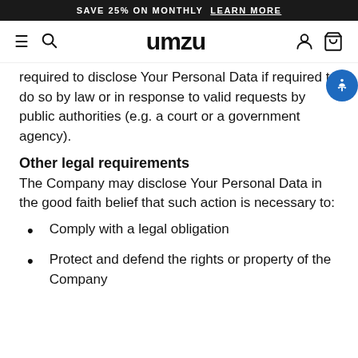SAVE 25% ON MONTHLY  LEARN MORE
required to disclose Your Personal Data if required to do so by law or in response to valid requests by public authorities (e.g. a court or a government agency).
Other legal requirements
The Company may disclose Your Personal Data in the good faith belief that such action is necessary to:
Comply with a legal obligation
Protect and defend the rights or property of the Company